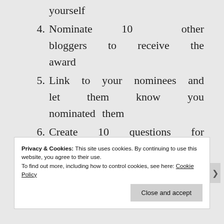yourself
4. Nominate 10 other bloggers to receive the award
5. Link to your nominees and let them know you nominated them
6. Create 10 questions for your nominees to answer
Privacy & Cookies: This site uses cookies. By continuing to use this website, you agree to their use.
To find out more, including how to control cookies, see here: Cookie Policy
Close and accept